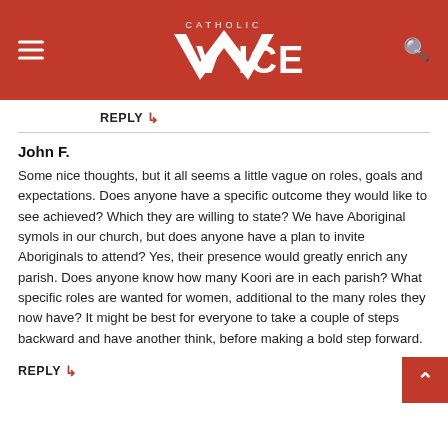[Figure (logo): Catholic Voice logo — white text on red background header with hamburger menu icon on left and search icon on right]
REPLY ↩
John F.
Some nice thoughts, but it all seems a little vague on roles, goals and expectations. Does anyone have a specific outcome they would like to see achieved? Which they are willing to state? We have Aboriginal symols in our church, but does anyone have a plan to invite Aboriginals to attend? Yes, their presence would greatly enrich any parish. Does anyone know how many Koori are in each parish? What specific roles are wanted for women, additional to the many roles they now have? It might be best for everyone to take a couple of steps backward and have another think, before making a bold step forward.
REPLY ↩